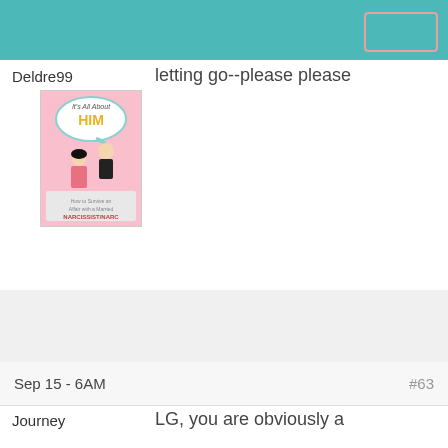Deldre99
letting go--please please
[Figure (illustration): Book cover: 'It's All About HIM' with cartoon couple, subtitle references Narcissist/NARC]
Sep 15 - 6AM
#63
Journey
LG, you are obviously a
Journey on...
[Figure (illustration): Book cover: 'It's All About HIM' with cartoon couple, subtitle references Narcissist/NARC]